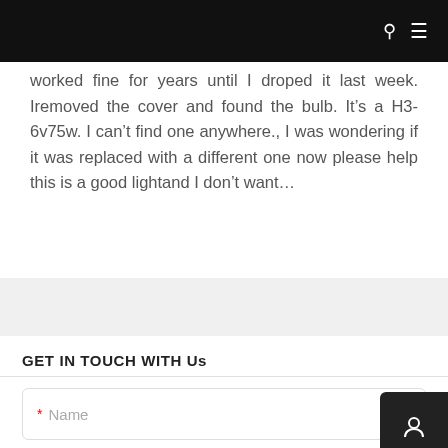worked fine for years until I droped it last week. Iremoved the cover and found the bulb. It’s a H3-6v75w. I can’t find one anywhere., I was wondering if it was replaced with a different one now please help this is a good lightand I don’t want...
GET IN TOUCH WITH Us